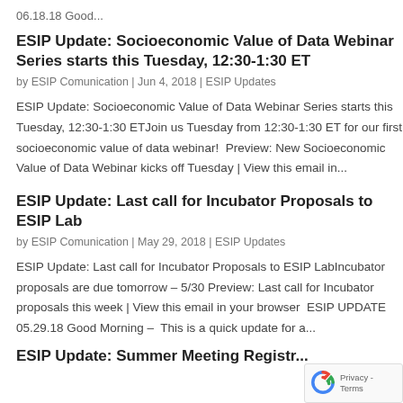06.18.18 Good...
ESIP Update: Socioeconomic Value of Data Webinar Series starts this Tuesday, 12:30-1:30 ET
by ESIP Comunication | Jun 4, 2018 | ESIP Updates
ESIP Update: Socioeconomic Value of Data Webinar Series starts this Tuesday, 12:30-1:30 ETJoin us Tuesday from 12:30-1:30 ET for our first socioeconomic value of data webinar!  Preview: New Socioeconomic Value of Data Webinar kicks off Tuesday | View this email in...
ESIP Update: Last call for Incubator Proposals to ESIP Lab
by ESIP Comunication | May 29, 2018 | ESIP Updates
ESIP Update: Last call for Incubator Proposals to ESIP LabIncubator proposals are due tomorrow – 5/30 Preview: Last call for Incubator proposals this week | View this email in your browser  ESIP UPDATE 05.29.18 Good Morning –  This is a quick update for a...
ESIP Update: Summer Meeting Registration...